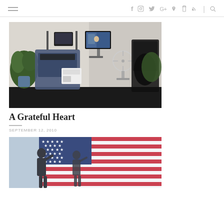Navigation bar with hamburger menu and social icons: f, instagram, twitter, G+, pinterest, rss, search
[Figure (photo): Indoor home gym with treadmill, elliptical machine, potted plants, fan, and a TV mounted on the wall showing a news broadcast]
A Grateful Heart
SEPTEMBER 12, 2010
[Figure (photo): Silhouettes of soldiers saluting in front of an American flag with stars and red/white stripes]